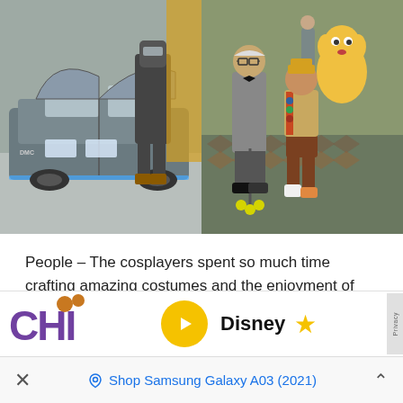[Figure (photo): Two photos side by side: left shows a DeLorean car at a convention with a person in a dark robot/armor costume (RoboCop or similar); right shows two people cosplaying as characters from the movie Up — an elderly man in a suit with a cane and a child in Russell's scout costume with a yellow stuffed dog.]
People – The cosplayers spent so much time crafting amazing costumes and the enjoyment of seeing someone stop and ask for a photo was cool.
[Figure (screenshot): Bottom portion of a webpage showing a Disney advertisement banner with a stylized logo, a gold play button circle, the word Disney in bold, and a gold star. A privacy tab appears on the right edge. Below is a browser bottom bar with an X close button, a Samsung Galaxy shop link in blue, and a caret chevron button.]